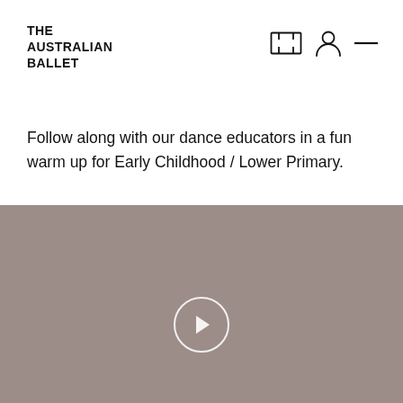THE AUSTRALIAN BALLET
Follow along with our dance educators in a fun warm up for Early Childhood / Lower Primary.
[Figure (screenshot): Video thumbnail with grey/taupe background and a white circular play button in the center-lower area]